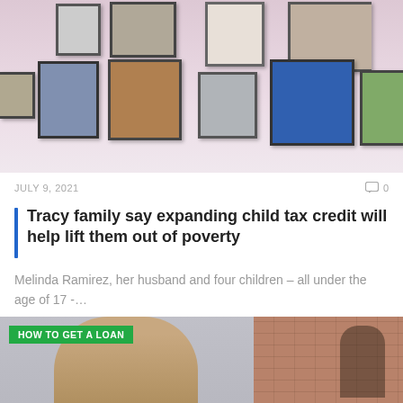[Figure (photo): Photo of a wall covered with family portrait frames, showing multiple framed photos of children and family members in various sizes]
JULY 9, 2021
0
Tracy family say expanding child tax credit will help lift them out of poverty
Melinda Ramirez, her husband and four children – all under the age of 17 -…
[Figure (photo): HOW TO GET A LOAN article banner showing a young man looking down and a brick wall background]